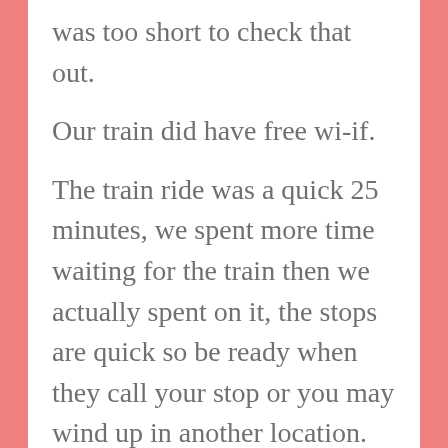was too short to check that out.
Our train did have free wi-if.
The train ride was a quick 25 minutes, we spent more time waiting for the train then we actually spent on it, the stops are quick so be ready when they call your stop or you may wind up in another location.